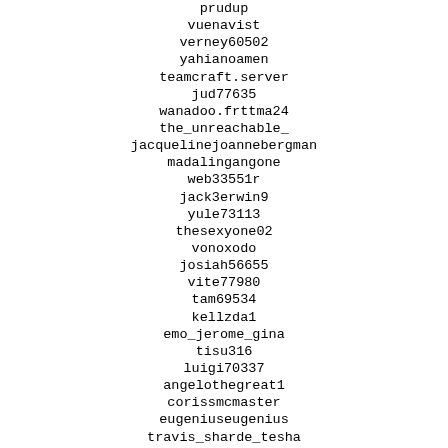prudup
vuenavist
verney60502
yahianoamen
teamcraft.server
jud77635
wanadoo.frttma24
the_unreachable_
jacquelinejoannebergman
madalingangone
web33551r
jack3erwin9
yule73113
thesexyone02
vonoxodo
josiah56655
vite77980
tam69534
kellzda1
emo_jerome_gina
tisu316
luigi70337
angelothegreat1
corissmcmaster
eugeniuseugenius
travis_sharde_tesha
saruhikop
tatiana-andrianova2013
subway013
bfstry123
wilmer08501